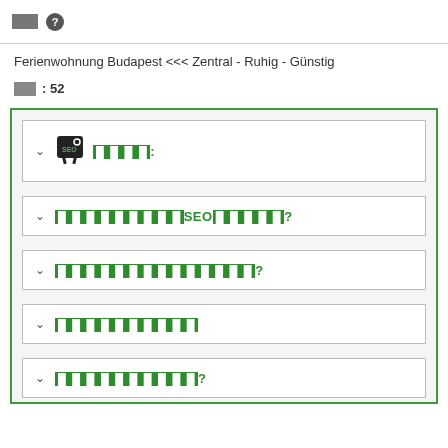🔲 ❓
Ferienwohnung Budapest <<< Zentral - Ruhig - Günstig
🔲🔲 : 52
🔲🔲🔲🔲:
🔲🔲🔲🔲🔲🔲🔲🔲🔲SEO🔲🔲🔲🔲🔲?
🔲🔲🔲🔲🔲🔲🔲🔲🔲🔲🔲🔲🔲🔲?
🔲🔲🔲🔲🔲🔲🔲🔲🔲🔲
🔲🔲🔲🔲🔲🔲🔲🔲🔲🔲?